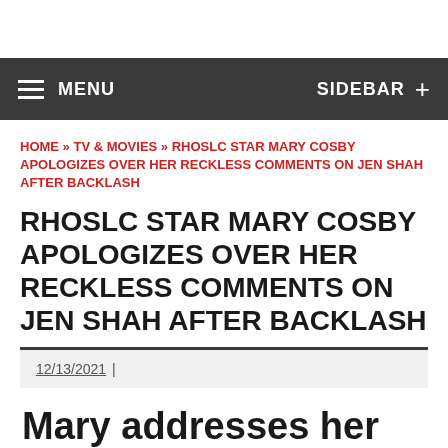MENU | SIDEBAR +
HOME » TV & MOVIES » RHOSLC STAR MARY COSBY APOLOGIZES OVER HER RECKLESS COMMENTS ON JEN SHAH AFTER BACKLASH
RHOSLC STAR MARY COSBY APOLOGIZES OVER HER RECKLESS COMMENTS ON JEN SHAH AFTER BACKLASH
12/13/2021
Mary addresses her